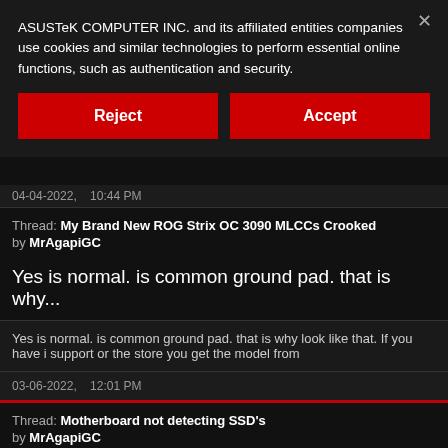ASUSTeK COMPUTER INC. and its affiliated entities companies use cookies and similar technologies to perform essential online functions, such as authentication and security.
Reject
Accept
04-04-2022,    10:44 PM
Thread: My Brand New ROG Strix OC 3090 MLCCs Crooked
by MrAgapiGC
Yes is normal. is common ground pad. that is why...
Yes is normal. is common ground pad. that is why look like that. If you have i support or the store you get the model from
03-06-2022,    12:01 PM
Thread: Motherboard not detecting SSD's
by MrAgapiGC
That is cause the old system was legacy and the...